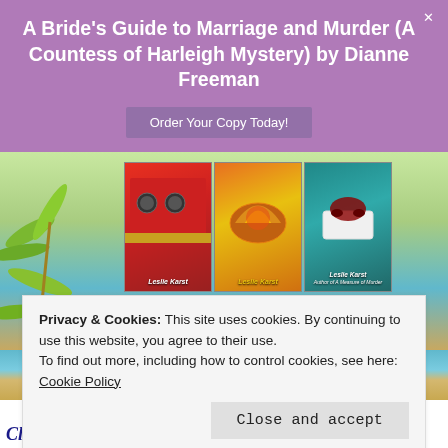A Bride's Guide to Marriage and Murder (A Countess of Harleigh Mystery) by Dianne Freeman
Order Your Copy Today!
[Figure (photo): Three book covers by Leslie Karst displayed in a row, with a fourth book cover below (Murder from Scratch), set against a tropical beach background with palm leaves.]
Privacy & Cookies: This site uses cookies. By continuing to use this website, you agree to their use.
To find out more, including how to control cookies, see here:
Cookie Policy
Close and accept
Click on covers for more book information or to